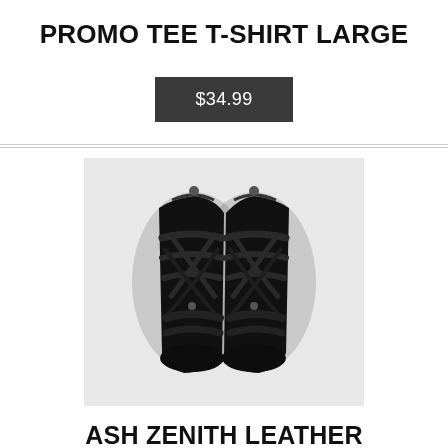PROMO TEE T-SHIRT LARGE
$34.99
[Figure (photo): Top-down view of black strappy leather platform sandals/heels with crisscross straps and zipper closure]
ASH ZENITH LEATHER PLATFORM